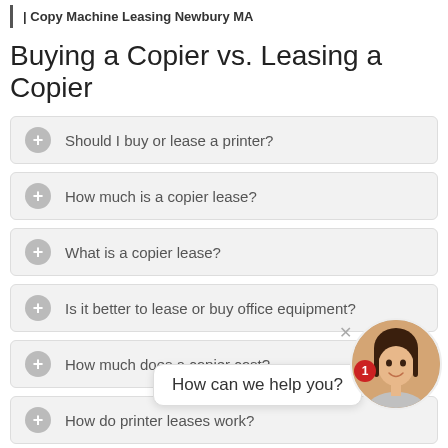| Copy Machine Leasing Newbury MA
Buying a Copier vs. Leasing a Copier
Should I buy or lease a printer?
How much is a copier lease?
What is a copier lease?
Is it better to lease or buy office equipment?
How much does a copier cost?
How do printer leases work?
Benefits Of Leasing A Copier
[Figure (photo): Chat widget with female avatar and speech bubble saying 'How can we help you?' with red badge showing '1']